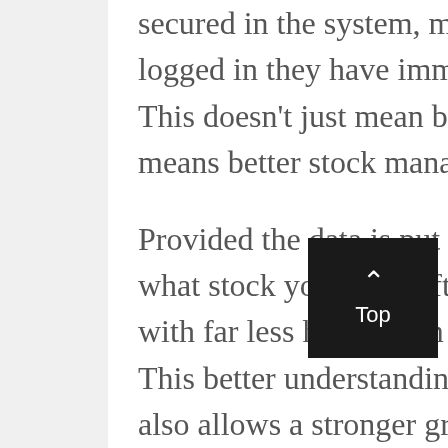secured in the system, meaning once someone has logged in they have immediate access to it at any time. This doesn't just mean better staff management, it means better stock management as well.
Provided the data is put into the system, you can track what stock you have left and what needs to be ordered with far less hassle than keeping pen and paper records. This better understanding of your healthcare materials also allows a stronger grip over the department's budget. You'll no longer order too many of the wrong items or go